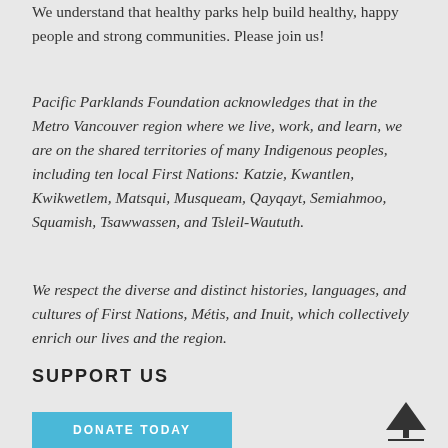We understand that healthy parks help build healthy, happy people and strong communities. Please join us!
Pacific Parklands Foundation acknowledges that in the Metro Vancouver region where we live, work, and learn, we are on the shared territories of many Indigenous peoples, including ten local First Nations: Katzie, Kwantlen, Kwikwetlem, Matsqui, Musqueam, Qayqayt, Semiahmoo, Squamish, Tsawwassen, and Tsleil-Waututh.
We respect the diverse and distinct histories, languages, and cultures of First Nations, Métis, and Inuit, which collectively enrich our lives and the region.
SUPPORT US
DONATE TODAY
[Figure (illustration): Tree icon with horizontal base line at bottom right of page]